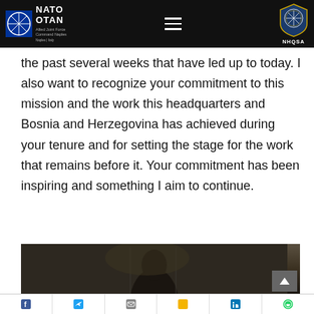NATO OTAN Allied Joint Force Command Naples - NHQSA header
the past several weeks that have led up to today. I also want to recognize your commitment to this mission and the work this headquarters and Bosnia and Herzegovina has achieved during your tenure and for setting the stage for the work that remains before it. Your commitment has been inspiring and something I aim to continue.
[Figure (photo): A photograph showing a person at what appears to be a formal meeting or press conference setting, partially visible at the bottom of the page.]
Social media sharing icons: Facebook, Twitter, Email, Google, LinkedIn, WhatsApp